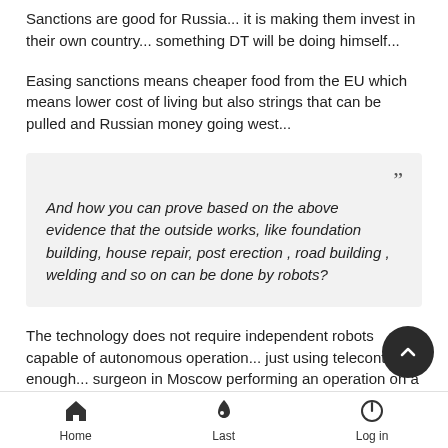Sanctions are good for Russia... it is making them invest in their own country... something DT will be doing himself...
Easing sanctions means cheaper food from the EU which means lower cost of living but also strings that can be pulled and Russian money going west...
And how you can prove based on the above evidence that the outside works, like foundation building, house repair, post erection , road building , welding and so on can be done by robots?
The technology does not require independent robots capable of autonomous operation... just using telecontrol is enough... surgeon in Moscow performing an operation on a patient in the
Home | Last | Log in